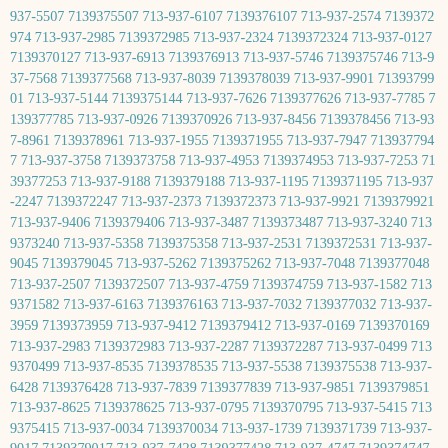937-5507 7139375507 713-937-6107 7139376107 713-937-2574 7139372974 713-937-2985 7139372985 713-937-2324 7139372324 713-937-0127 7139370127 713-937-6913 7139376913 713-937-5746 7139375746 713-937-7568 7139377568 713-937-8039 7139378039 713-937-9901 7139379901 713-937-5144 7139375144 713-937-7626 7139377626 713-937-7785 7139377785 713-937-0926 7139370926 713-937-8456 7139378456 713-937-8961 7139378961 713-937-1955 7139371955 713-937-7947 7139377947 713-937-3758 7139373758 713-937-4953 7139374953 713-937-7253 7139377253 713-937-9188 7139379188 713-937-1195 7139371195 713-937-2247 7139372247 713-937-2373 7139372373 713-937-9921 7139379921 713-937-9406 7139379406 713-937-3487 7139373487 713-937-3240 7139373240 713-937-5358 7139375358 713-937-2531 7139372531 713-937-9045 7139379045 713-937-5262 7139375262 713-937-7048 7139377048 713-937-2507 7139372507 713-937-4759 7139374759 713-937-1582 7139371582 713-937-6163 7139376163 713-937-7032 7139377032 713-937-3959 7139373959 713-937-9412 7139379412 713-937-0169 7139370169 713-937-2983 7139372983 713-937-2287 7139372287 713-937-0499 7139370499 713-937-8535 7139378535 713-937-5538 7139375538 713-937-6428 7139376428 713-937-7839 7139377839 713-937-9851 7139379851 713-937-8625 7139378625 713-937-0795 7139370795 713-937-5415 7139375415 713-937-0034 7139370034 713-937-1739 7139371739 713-937-9017 7139379017 713-937-7428 7139377428 713-937-4747 7139374747 713-937-1520 7139371520 713-937-3139 7139373139 713-937-5370 7139375370 713-937-4354 7139374354 713-937-0168 7139370168 713-937-4489 7139374489 713-937-7837 7139377837 713-937-0848 7139370848 713-937-0508